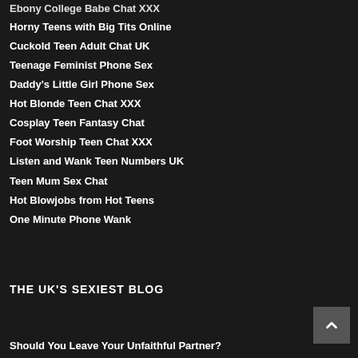Ebony College Babe Chat XXX
Horny Teens with Big Tits Online
Cuckold Teen Adult Chat UK
Teenage Feminist Phone Sex
Daddy's Little Girl Phone Sex
Hot Blonde Teen Chat XXX
Cosplay Teen Fantasy Chat
Foot Worship Teen Chat XXX
Listen and Wank Teen Numbers UK
Teen Mum Sex Chat
Hot Blowjobs from Hot Teens
One Minute Phone Wank
THE UK'S SEXIEST BLOG
Should You Leave Your Unfaithful Partner?